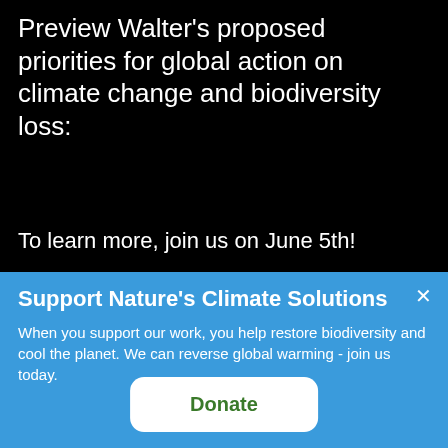Preview Walter's proposed priorities for global action on climate change and biodiversity loss:
To learn more, join us on June 5th!
Support Nature's Climate Solutions
When you support our work, you help restore biodiversity and cool the planet. We can reverse global warming - join us today.
Donate